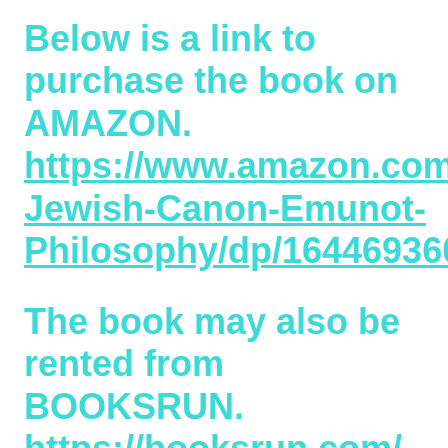Below is a link to purchase the book on AMAZON. https://www.amazon.com/N Jewish-Canon-Emunot-Philosophy/dp/1644693607...
The book may also be rented from BOOKSRUN. https://booksrun.com/
The below link includes